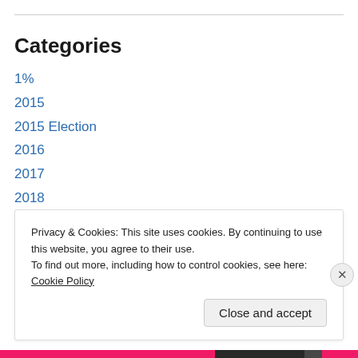Categories
1%
2015
2015 Election
2016
2017
2018
2019
2020
2021
2022
Privacy & Cookies: This site uses cookies. By continuing to use this website, you agree to their use.
To find out more, including how to control cookies, see here: Cookie Policy
Close and accept